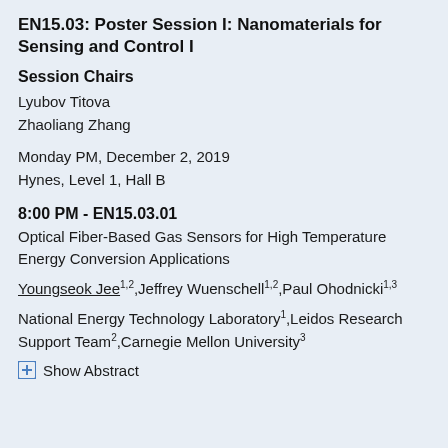EN15.03: Poster Session I: Nanomaterials for Sensing and Control I
Session Chairs
Lyubov Titova
Zhaoliang Zhang
Monday PM, December 2, 2019
Hynes, Level 1, Hall B
8:00 PM - EN15.03.01
Optical Fiber-Based Gas Sensors for High Temperature Energy Conversion Applications
Youngseok Jee1,2,Jeffrey Wuenschell1,2,Paul Ohodnicki1,3
National Energy Technology Laboratory1,Leidos Research Support Team2,Carnegie Mellon University3
+ Show Abstract